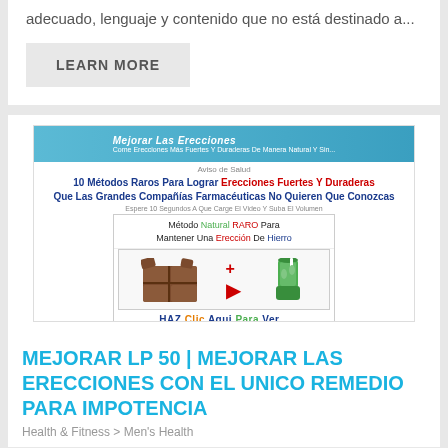adecuado, lenguaje y contenido que no está destinado a...
LEARN MORE
[Figure (screenshot): Advertisement screenshot showing a Spanish-language health ad for erectile dysfunction remedy with food images (chocolate and bitter melon juice) and a video play button.]
MEJORAR LP 50 | MEJORAR LAS ERECCIONES CON EL UNICO REMEDIO PARA IMPOTENCIA
Health & Fitness > Men's Health